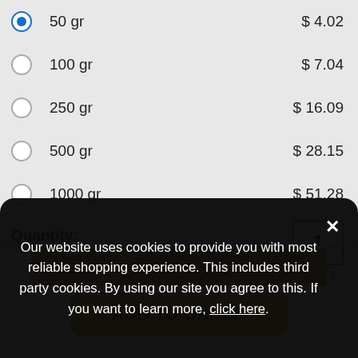50 gr  $ 4.02
100 gr  $ 7.04
250 gr  $ 16.09
500 gr  $ 28.15
1000 gr  $ 51.28
Quantity:  1  max: 2
ADD TO ORDER
[Figure (photo): Product photo strip showing granular/spice product]
Our website uses cookies to provide you with most reliable shopping experience. This includes third party cookies. By using our site you agree to this. If you want to learn more, click here.